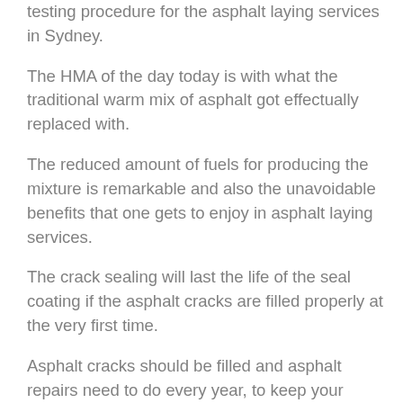testing procedure for the asphalt laying services in Sydney.
The HMA of the day today is with what the traditional warm mix of asphalt got effectually replaced with.
The reduced amount of fuels for producing the mixture is remarkable and also the unavoidable benefits that one gets to enjoy in asphalt laying services.
The crack sealing will last the life of the seal coating if the asphalt cracks are filled properly at the very first time.
Asphalt cracks should be filled and asphalt repairs need to do every year, to keep your asphalt parking